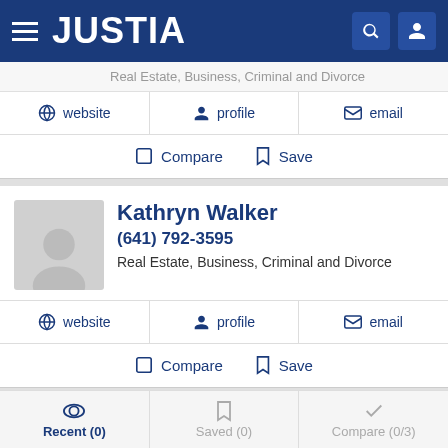JUSTIA
Real Estate, Business, Criminal and Divorce
website   profile   email
Compare   Save
Kathryn Walker
(641) 792-3595
Real Estate, Business, Criminal and Divorce
website   profile   email
Compare   Save
James Thornton
Recent (0)   Saved (0)   Compare (0/3)